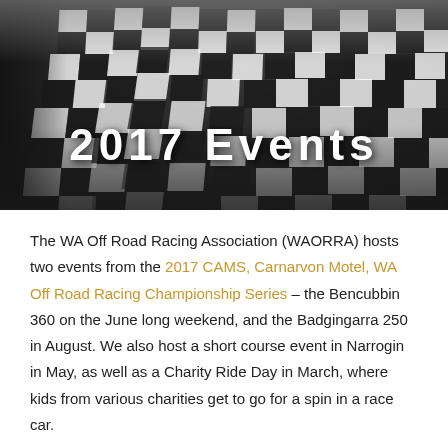[Figure (photo): Checkered racing flag waving against a dark background with the title '2017 Events' overlaid in white bold text]
2017 Events
The WA Off Road Racing Association (WAORRA) hosts two events from the 2017 CAMS, Carnarvon Motel, WA Off Road Racing Championship Series – the Bencubbin 360 on the June long weekend, and the Badgingarra 250 in August. We also host a short course event in Narrogin in May, as well as a Charity Ride Day in March, where kids from various charities get to go for a spin in a race car.